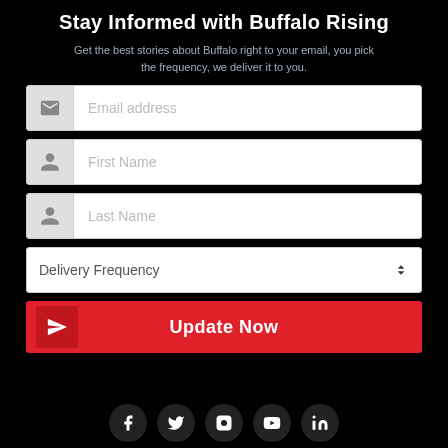Stay Informed with Buffalo Rising
Get the best stories about Buffalo right to your email, you pick the frequency, we deliver it to you.
[Figure (screenshot): Email address input field with envelope icon]
[Figure (screenshot): First Name input field with person icon]
[Figure (screenshot): Last Name input field with person icon]
[Figure (screenshot): Delivery Frequency dropdown selector]
[Figure (screenshot): Update Now red submit button with paper plane icon]
[Figure (screenshot): Social media icons row: Facebook, Twitter, Instagram, YouTube, LinkedIn]